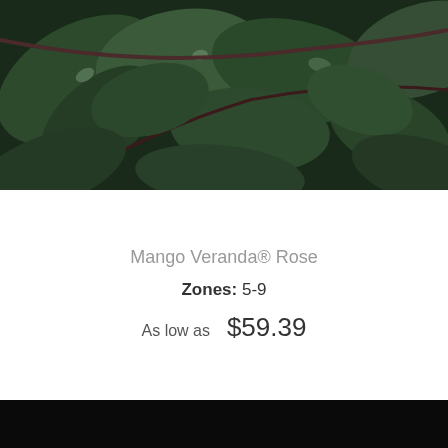[Figure (photo): Close-up photo of dark green rose leaves with water droplets, taken from above against dark background]
Mango Veranda® Rose
Zones: 5-9
As low as  $59.39
[Figure (photo): Two deep red/orange roses with green leaves against a black background, photographed close-up]